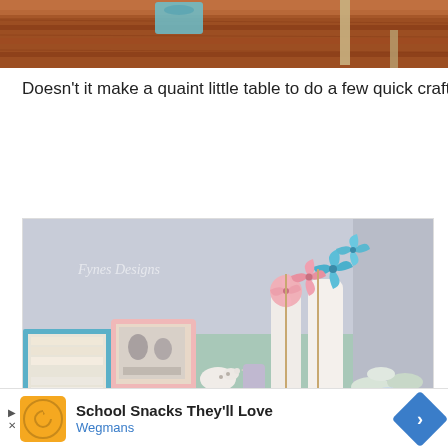[Figure (photo): Top portion of a photo showing a wooden floor with reddish-brown tones and partial view of furniture legs and a teal/blue object]
Doesn't it make a quaint little table to do a few quick crafts?!
[Figure (photo): A craft table setup in a corner with a light blue-gray wall. On the table (with a mint green mat) are: stacked cards/papers in a blue tray, a pink photo frame with a black-and-white photo, ceramic bird, small vases and bowls with craft supplies, and tall white vases holding colorful paper pinwheels in pink and teal. Watermark reads 'Fynes Designs'.]
[Figure (infographic): Advertisement banner: School Snacks They'll Love - Wegmans, with orange logo and blue diamond arrow button]